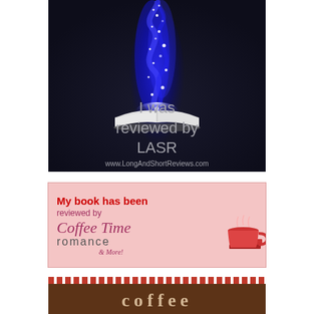[Figure (logo): LASR (Long And Short Reviews) badge — dark background with an open book emitting blue magical sparkles/stars upward, with text 'I was reviewed by LASR' and 'www.LongAndShortReviews.com']
[Figure (logo): Coffee Time Romance badge — pink background with red text 'My book has been reviewed by' and stylized 'Coffee Time romance & More!' text with a coffee cup on books image on the right]
[Figure (logo): Coffee Thoughts badge (partially visible) — brown background with decorative red dotted border at top and 'coffee' text in cream/tan colored letters with a distinctive double-f ligature]